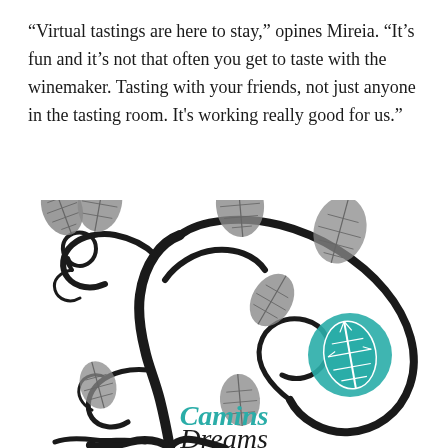“Virtual tastings are here to stay,” opines Mireia. “It’s fun and it’s not that often you get to taste with the winemaker. Tasting with your friends, not just anyone in the tasting room. It’s working really good for us.”
[Figure (logo): Camins Dreams winery logo featuring a decorative tree with swirling branches and grape leaves in dark/grey tones, with a teal circular leaf emblem, and the text 'Camins Dreams' in teal and dark font.]